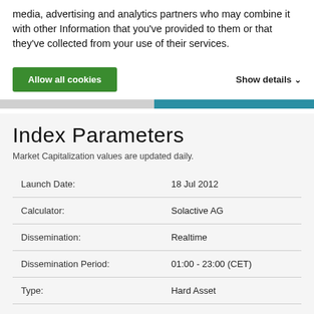media, advertising and analytics partners who may combine it with other Information that you've provided to them or that they've collected from your use of their services.
Allow all cookies    Show details
Index Parameters
Market Capitalization values are updated daily.
|  |  |
| --- | --- |
| Launch Date: | 18 Jul 2012 |
| Calculator: | Solactive AG |
| Dissemination: | Realtime |
| Dissemination Period: | 01:00 - 23:00 (CET) |
| Type: | Hard Asset |